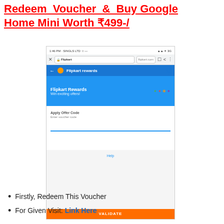Redeem Voucher & Buy Google Home Mini Worth ₹499-/
[Figure (screenshot): Mobile browser screenshot showing Flipkart Rewards app page with a blue header, 'Flipkart Rewards - Win exciting offers!' text, an offer code input field with a blue underline, a VALIDATE button in orange at the bottom.]
Firstly, Redeem This Voucher
For Given Visit: Link Here